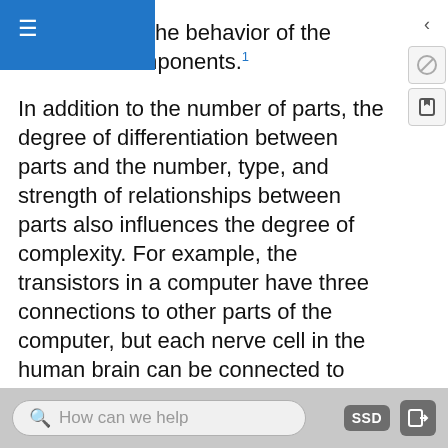inferred from the behavior of the individual components.¹
In addition to the number of parts, the degree of differentiation between parts and the number, type, and strength of relationships between parts also influences the degree of complexity. For example, the transistors in a computer have three connections to other parts of the computer, but each nerve cell in the human brain can be connected to thousands of other cells in the brain, which is why the human brain is more complex than a computer. Complexity is context dependent. A project is more or less complex in relation to the number of activities, the type and strength of relationships to other project activities, and the degree and type of relationships to the project